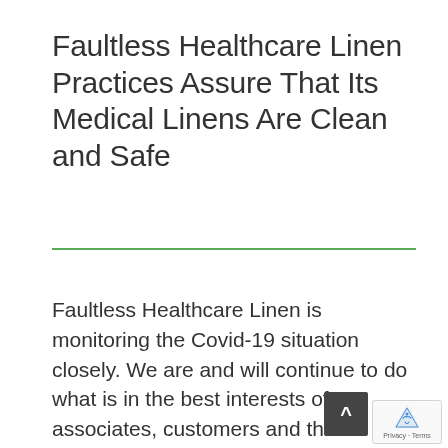Faultless Healthcare Linen Practices Assure That Its Medical Linens Are Clean and Safe
Faultless Healthcare Linen is monitoring the Covid-19 situation closely. We are and will continue to do what is in the best interests of our associates, customers and their patient communities, operating at our usual high standards for safety as we